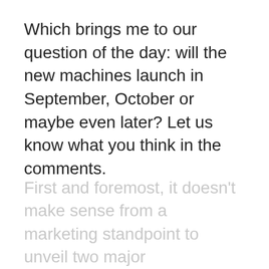Which brings me to our question of the day: will the new machines launch in September, October or maybe even later? Let us know what you think in the comments.
First and foremost, it doesn't make sense from a marketing standpoint to unveil two major